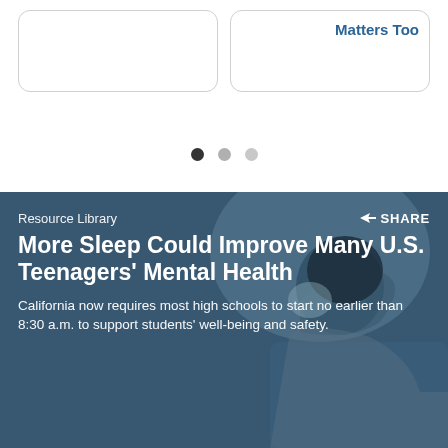[Figure (other): Two rounded-corner card panels at top; right card shows 'Matters Too' text in blue]
Matters Too
[Figure (other): Carousel pagination dots: three dots, first active (dark), second and third inactive (gray)]
[Figure (photo): Background photo of a teenager with head in hands, overlaid with a blue-tinted dark overlay]
Resource Library
SHARE
More Sleep Could Improve Many U.S. Teenagers' Mental Health
California now requires most high schools to start no earlier than 8:30 a.m. to support students' well-being and safety.